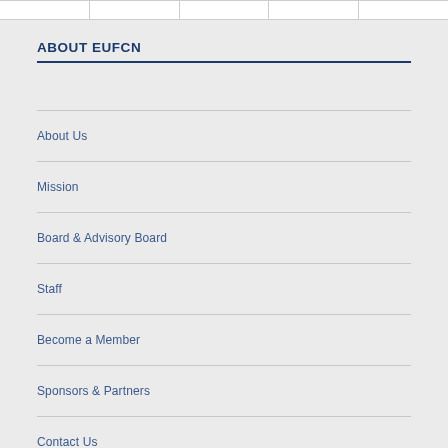|   |   |   |   |   |
ABOUT EUFCN
About Us
Mission
Board & Advisory Board
Staff
Become a Member
Sponsors & Partners
Contact Us